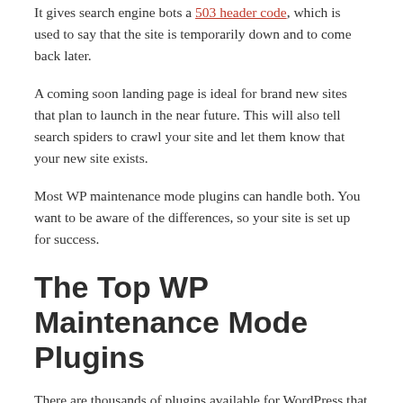It gives search engine bots a 503 header code, which is used to say that the site is temporarily down and to come back later.
A coming soon landing page is ideal for brand new sites that plan to launch in the near future. This will also tell search spiders to crawl your site and let them know that your new site exists.
Most WP maintenance mode plugins can handle both. You want to be aware of the differences, so your site is set up for success.
The Top WP Maintenance Mode Plugins
There are thousands of plugins available for WordPress that allow you to do just about anything. Check out these top plugins that will make your site look professional...